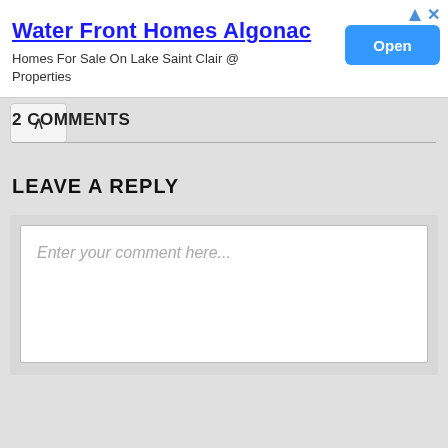[Figure (other): Advertisement banner for Water Front Homes Algonac with Open button]
2 COMMENTS
LEAVE A REPLY
Enter your comment here...